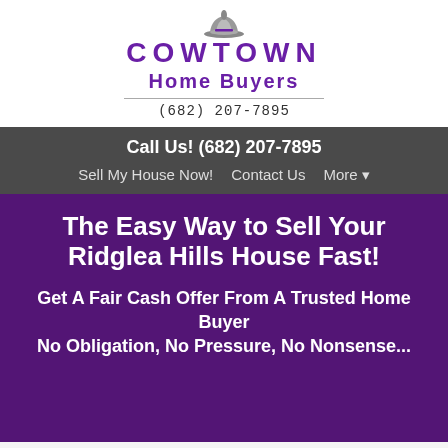[Figure (logo): Cowtown Home Buyers logo with cowboy hat icon, company name in purple, and phone number (682) 207-7895]
Call Us! (682) 207-7895
Sell My House Now!    Contact Us    More ▾
The Easy Way to Sell Your Ridglea Hills House Fast!
Get A Fair Cash Offer From A Trusted Home Buyer
No Obligation, No Pressure, No Nonsense...
Property Address*